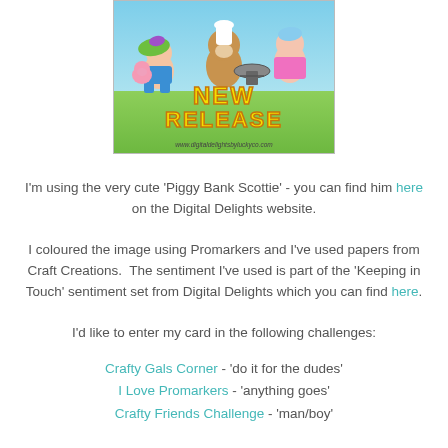[Figure (illustration): Cartoon characters banner with monkey chef, girl, boy with pig, text 'NEW RELEASE' in yellow outlined font, and website URL www.digitaldelightsbyluckyco.com on a green/blue background]
I'm using the very cute 'Piggy Bank Scottie' - you can find him here on the Digital Delights website.
I coloured the image using Promarkers and I've used papers from Craft Creations.  The sentiment I've used is part of the 'Keeping in Touch' sentiment set from Digital Delights which you can find here.
I'd like to enter my card in the following challenges:
Crafty Gals Corner - 'do it for the dudes'
I Love Promarkers - 'anything goes'
Crafty Friends Challenge - 'man/boy'